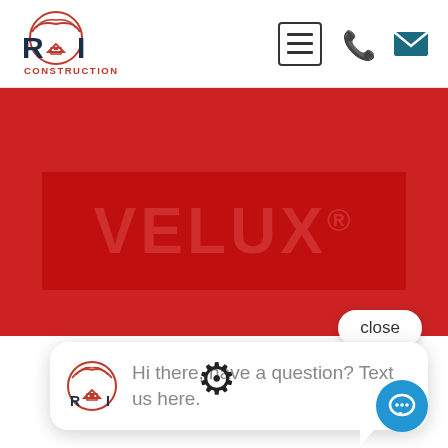[Figure (logo): ROI Construction logo — red and dark blue stylized eagle/house icon with letters R, O, I and text CONSTRUCTION below]
[Figure (screenshot): Hamburger menu icon in a square border]
[Figure (screenshot): Phone icon in teal/dark teal color]
[Figure (screenshot): Envelope/email icon in teal/dark teal color]
[Figure (screenshot): Red banner with VELUX® logo in darker red lettering]
close
Hi there, have a question? Text us here.
[Figure (screenshot): Gear/settings icon in dark color]
[Figure (screenshot): Blue circular chat button with speech bubble icon]